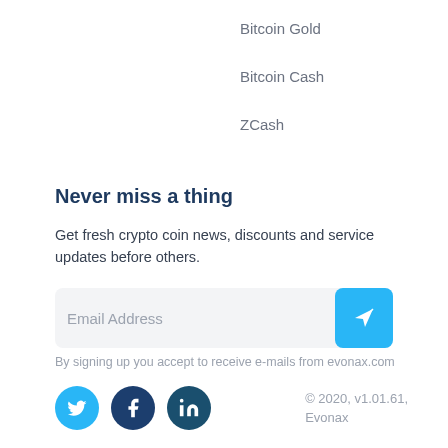Bitcoin Gold
Bitcoin Cash
ZCash
Never miss a thing
Get fresh crypto coin news, discounts and service updates before others.
Email Address
By signing up you accept to receive e-mails from evonax.com
© 2020, v1.01.61, Evonax